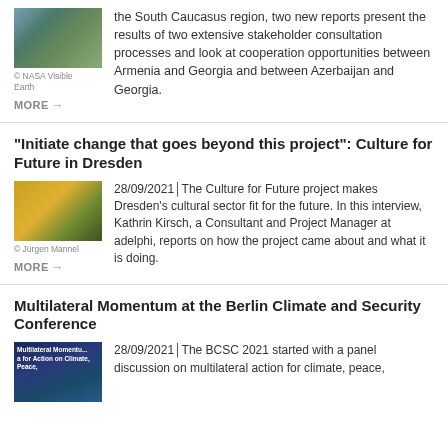[Figure (photo): Satellite image of the South Caucasus region (NASA Visible Earth)]
© NASA Visible Earth
the South Caucasus region, two new reports present the results of two extensive stakeholder consultation processes and look at cooperation opportunities between Armenia and Georgia and between Azerbaijan and Georgia.
MORE →
"Initiate change that goes beyond this project": Culture for Future in Dresden
[Figure (photo): Workshop photo showing participants and signs on the floor]
© Jürgen Mannel
28/09/2021 | The Culture for Future project makes Dresden's cultural sector fit for the future. In this interview, Kathrin Kirsch, a Consultant and Project Manager at adelphi, reports on how the project came about and what it is doing.
MORE →
Multilateral Momentum at the Berlin Climate and Security Conference
[Figure (photo): Multilateral Momentum at the Berlin Climate and Security Conference event image]
28/09/2021 | The BCSC 2021 started with a panel discussion on multilateral action for climate, peace,